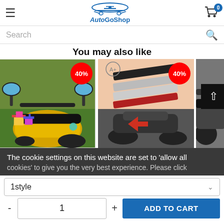AutoGoShop
Search
You may also like
[Figure (photo): Motorcycle handlebar mirrors product image with 40% discount badge]
[Figure (photo): Motorcycle decorative strips product image with 40% discount badge]
[Figure (photo): Partial motorcycle product image, partially visible]
The cookie settings on this website are set to 'allow all cookies' to give you the very best experience. Please click
1style
1
ADD TO CART